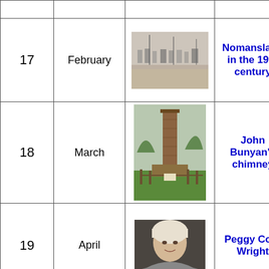| # | Month | Image | Title |
| --- | --- | --- | --- |
| 17 | February | [photo: Nomansland in 19th century street scene] | Nomansland in the 19th century |
| 18 | March | [photo: John Bunyan's chimney] | John Bunyan's chimney |
| 19 | April | [photo: Peggy Cory Wright portrait] | Peggy Cory Wright |